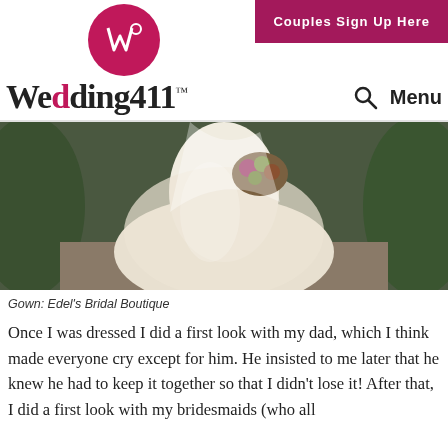Couples Sign Up Here
Wedding411™
[Figure (photo): Wedding dress photo showing a bride in a white lace gown holding a bouquet of flowers, standing outdoors with greenery in the background]
Gown: Edel's Bridal Boutique
Once I was dressed I did a first look with my dad, which I think made everyone cry except for him. He insisted to me later that he knew he had to keep it together so that I didn't lose it! After that, I did a first look with my bridesmaids (who all